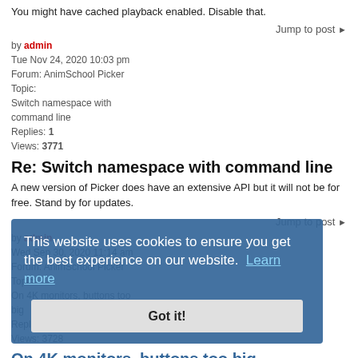You might have cached playback enabled. Disable that.
Jump to post ▶
by admin
Tue Nov 24, 2020 10:03 pm
Forum: AnimSchool Picker
Topic:
Switch namespace with command line
Replies: 1
Views: 3771
Re: Switch namespace with command line
A new version of Picker does have an extensive API but it will not be for free. Stand by for updates.
Jump to post ▶
by admin
Wed Sep 30, 2020 11:14 am
Forum: AnimSchool Picker
Topic:
On 4K monitors, buttons too big
Replies: 2
Views: 3728
On 4K monitors, buttons too big
on 4k monitors the button text can appear too big. "This only happens if you've manually gone in and changed the text scaling settings in windows itself. If you set it to not scale / be at 100% text size this won't be an issue. A
[Figure (other): Cookie consent banner overlay: 'This website uses cookies to ensure you get the best experience on our website. Learn more' with a 'Got it!' button.]